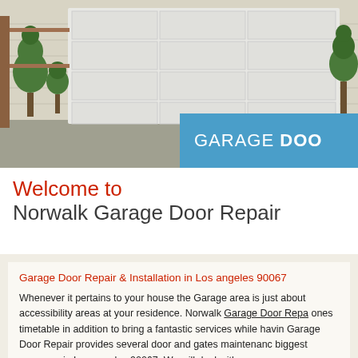[Figure (photo): Photo of a house with a large white garage door, flanked by trimmed topiary bushes, with a blue banner overlay reading 'GARAGE DOO']
Welcome to
Norwalk Garage Door Repair
Garage Door Repair & Installation in Los angeles 90067
Whenever it pertains to your house the Garage area is just about accessibility areas at your residence. Norwalk Garage Door Repa ones timetable in addition to bring a fantastic services while havin Garage Door Repair provides several door and gates maintenanc biggest coverage in Los angeles 90067. We will deal with comme